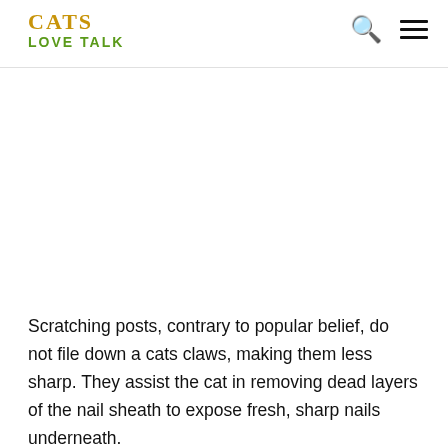CATS LOVE TALK
Scratching posts, contrary to popular belief, do not file down a cats claws, making them less sharp. They assist the cat in removing dead layers of the nail sheath to expose fresh, sharp nails underneath.